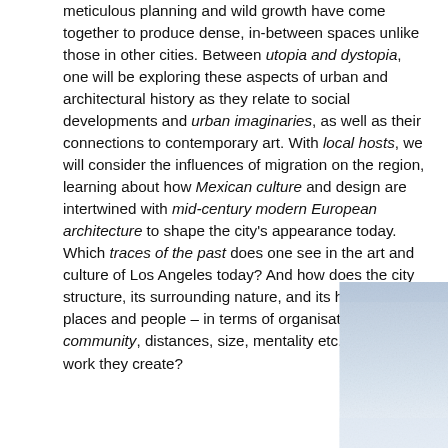meticulous planning and wild growth have come together to produce dense, in-between spaces unlike those in other cities. Between utopia and dystopia, one will be exploring these aspects of urban and architectural history as they relate to social developments and urban imaginaries, as well as their connections to contemporary art. With local hosts, we will consider the influences of migration on the region, learning about how Mexican culture and design are intertwined with mid-century modern European architecture to shape the city's appearance today. Which traces of the past does one see in the art and culture of Los Angeles today? And how does the city structure, its surrounding nature, and its history affect places and people – in terms of organisations and community, distances, size, mentality etc. – and the work they create?
[Figure (photo): A hazy blue-grey sky photograph, light gradient from pale blue-white at the horizon to slightly deeper blue tones, possibly showing an urban or landscape scene in soft overcast light.]